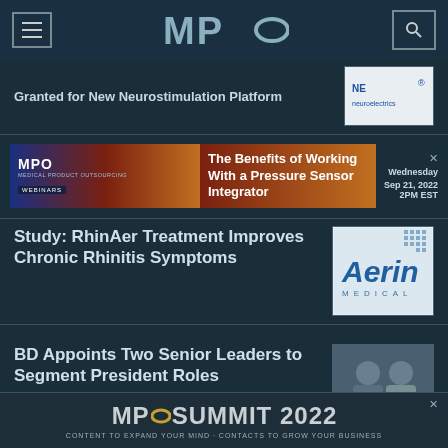MPO
Granted for New Neurostimulation Platform
[Figure (logo): Neuroelectrics logo thumbnail]
[Figure (infographic): MPO Webinars ad banner: The Benefits of Working With a Pressure Sensor Integrator, Wednesday Sep 21, 2022 2PM EST]
Study: RhinAer Treatment Improves Chronic Rhinitis Symptoms
[Figure (logo): Aerin Medical logo thumbnail]
BD Appoints Two Senior Leaders to Segment President Roles
[Figure (photo): Two senior BD leaders photo]
[Figure (logo): MPO Summit 2022 advertisement banner]